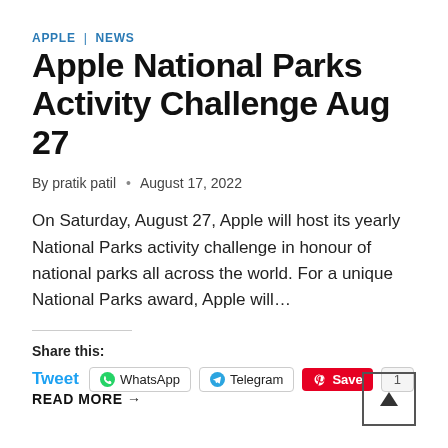APPLE | NEWS
Apple National Parks Activity Challenge Aug 27
By pratik patil • August 17, 2022
On Saturday, August 27, Apple will host its yearly National Parks activity challenge in honour of national parks all across the world. For a unique National Parks award, Apple will…
Share this: Tweet WhatsApp Telegram Save 1
READ MORE →